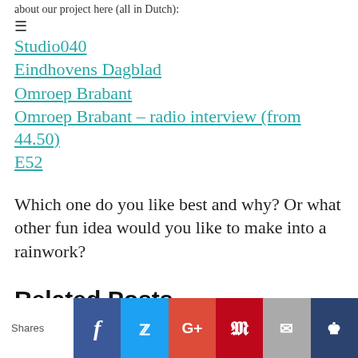about our project here (all in Dutch):
Studio040
Eindhovens Dagblad
Omroep Brabant
Omroep Brabant – radio interview (from 44.50)
E52
Which one do you like best and why? Or what other fun idea would you like to make into a rainwork?
Related Posts